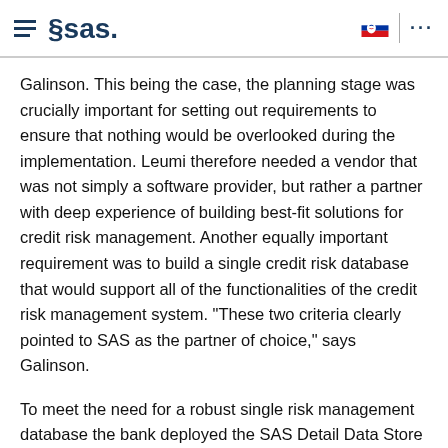SAS logo header with hamburger menu, SAS wordmark, Slovak flag, and menu dots
Galinson. This being the case, the planning stage was crucially important for setting out requirements to ensure that nothing would be overlooked during the implementation. Leumi therefore needed a vendor that was not simply a software provider, but rather a partner with deep experience of building best-fit solutions for credit risk management. Another equally important requirement was to build a single credit risk database that would support all of the functionalities of the credit risk management system. "These two criteria clearly pointed to SAS as the partner of choice," says Galinson.
To meet the need for a robust single risk management database the bank deployed the SAS Detail Data Store (a data model), which ensures consistency in the flow of data. Data that is updated or refreshed by one function